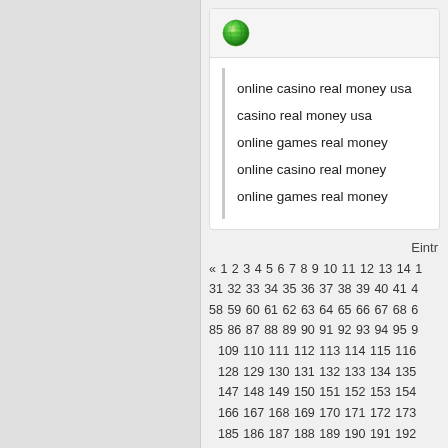[Figure (screenshot): Globe/internet icon (green sphere)]
online casino real money usa
casino real money usa
online games real money
online casino real money
online games real money
Eintr
« 1 2 3 4 5 6 7 8 9 10 11 12 13 14 ... 31 32 33 34 35 36 37 38 39 40 41 4... 58 59 60 61 62 63 64 65 66 67 68 6... 85 86 87 88 89 90 91 92 93 94 95 9... 109 110 111 112 113 114 115 116 ... 128 129 130 131 132 133 134 135 ... 147 148 149 150 151 152 153 154 ... 166 167 168 169 170 171 172 173 ... 185 186 187 188 189 190 191 192 ... 204 205 206 207 208 209 210 211 ... 223 224 225 226 227 228 229 230 ...